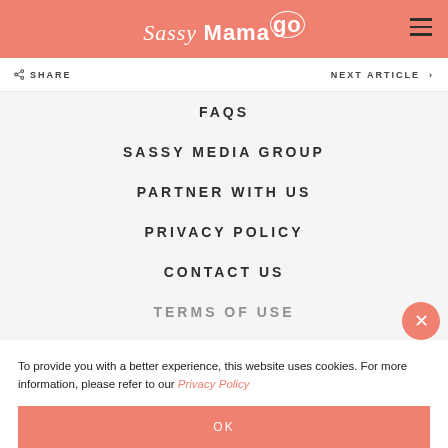Sassy Mama
SHARE | NEXT ARTICLE
FAQS
SASSY MEDIA GROUP
PARTNER WITH US
PRIVACY POLICY
CONTACT US
TERMS OF USE
To provide you with a better experience, this website uses cookies. For more information, please refer to our Privacy Policy
OK